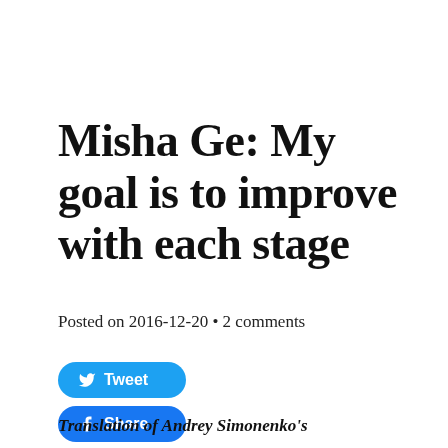Misha Ge: My goal is to improve with each stage
Posted on 2016-12-20 • 2 comments
[Figure (other): Tweet button (blue rounded pill) and Share button (blue rounded pill with Facebook icon)]
Translation of Andrey Simonenko's